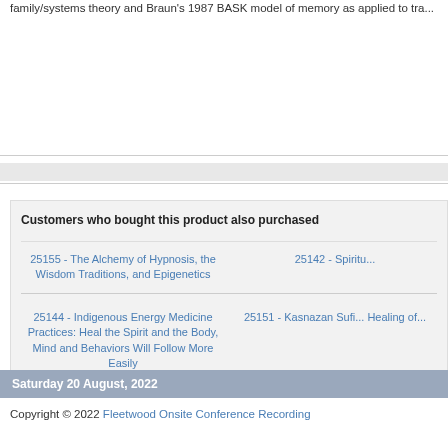family/systems theory and Braun's 1987 BASK model of memory as applied to tra...
Customers who bought this product also purchased
25155 - The Alchemy of Hypnosis, the Wisdom Traditions, and Epigenetics
25142 - Spiritu...
25144 - Indigenous Energy Medicine Practices: Heal the Spirit and the Body, Mind and Behaviors Will Follow More Easily
25151 - Kasnazan Sufi... Healing of...
Saturday 20 August, 2022
Copyright © 2022 Fleetwood Onsite Conference Recording